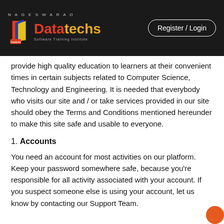NAGESWARAO Datatechs | Register / Login
provide high quality education to learners at their convenient times in certain subjects related to Computer Science, Technology and Engineering. It is needed that everybody who visits our site and / or take services provided in our site should obey the Terms and Conditions mentioned hereunder to make this site safe and usable to everyone.
1. Accounts
You need an account for most activities on our platform. Keep your password somewhere safe, because you’re responsible for all activity associated with your account. If you suspect someone else is using your account, let us know by contacting our Support Team.